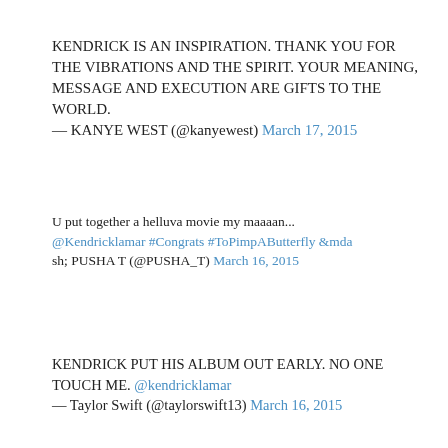KENDRICK IS AN INSPIRATION. THANK YOU FOR THE VIBRATIONS AND THE SPIRIT. YOUR MEANING, MESSAGE AND EXECUTION ARE GIFTS TO THE WORLD.
— KANYE WEST (@kanyewest) March 17, 2015
U put together a helluva movie my maaaan...
@Kendricklamar #Congrats #ToPimpAButterfly &mdash;
sh; PUSHA T (@PUSHA_T) March 16, 2015
KENDRICK PUT HIS ALBUM OUT EARLY. NO ONE TOUCH ME. @kendricklamar
— Taylor Swift (@taylorswift13) March 16, 2015